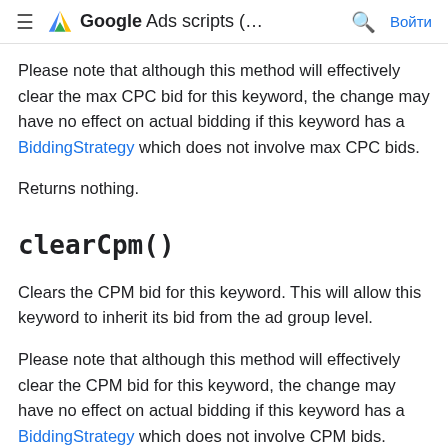≡  Google Ads scripts (…  🔍  Войти
Please note that although this method will effectively clear the max CPC bid for this keyword, the change may have no effect on actual bidding if this keyword has a BiddingStrategy which does not involve max CPC bids.
Returns nothing.
clearCpm()
Clears the CPM bid for this keyword. This will allow this keyword to inherit its bid from the ad group level.
Please note that although this method will effectively clear the CPM bid for this keyword, the change may have no effect on actual bidding if this keyword has a BiddingStrategy which does not involve CPM bids.